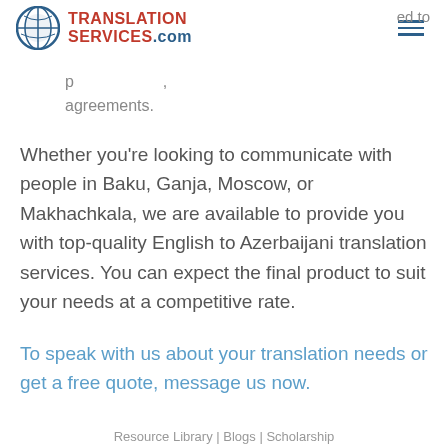TranslationServices.com
agreements.
Whether you’re looking to communicate with people in Baku, Ganja, Moscow, or Makhachkala, we are available to provide you with top-quality English to Azerbaijani translation services. You can expect the final product to suit your needs at a competitive rate.
To speak with us about your translation needs or get a free quote, message us now.
Resource Library | Blogs | Scholarship